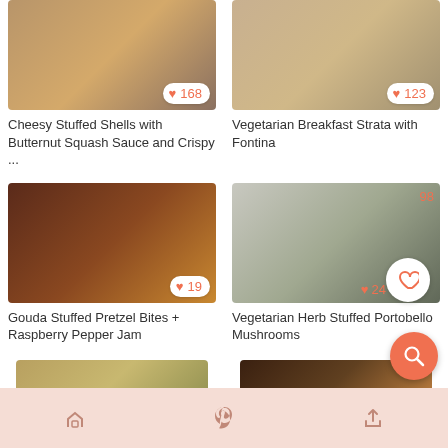[Figure (photo): Cheesy Stuffed Shells with Butternut Squash Sauce and Crispy ... - food photo with heart/like badge showing 168]
Cheesy Stuffed Shells with Butternut Squash Sauce and Crispy ...
[Figure (photo): Vegetarian Breakfast Strata with Fontina - food photo with heart/like badge showing 123]
Vegetarian Breakfast Strata with Fontina
[Figure (photo): Gouda Stuffed Pretzel Bites + Raspberry Pepper Jam - food photo with heart/like badge showing 19]
Gouda Stuffed Pretzel Bites + Raspberry Pepper Jam
[Figure (photo): Vegetarian Herb Stuffed Portobello Mushrooms - food photo with heart/like badge showing 24 (partially obscured by FAB)]
Vegetarian Herb Stuffed Portobello Mushrooms